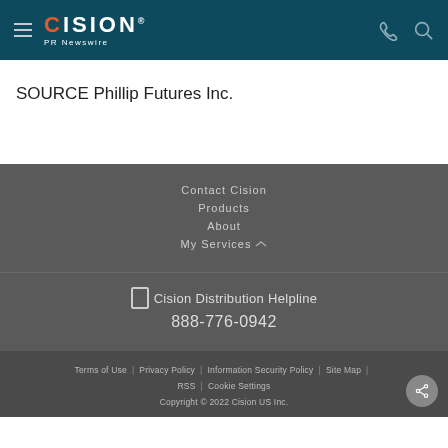[Figure (logo): Cision PR Newswire logo with hamburger menu, phone and search icons on dark teal header]
SOURCE Phillip Futures Inc.
Contact Cision
Products
About
My Services
Cision Distribution Helpline
888-776-0942
Terms of Use | Privacy Policy | Information Security Policy | Site Map | RSS | Cookie Settings
Copyright © 2022 Cision US Inc.